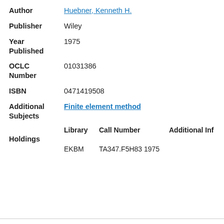Author: Huebner, Kenneth H.
Publisher: Wiley
Year Published: 1975
OCLC Number: 01031386
ISBN: 0471419508
Additional Subjects: Finite element method
| Library | Call Number | Additional Inf |
| --- | --- | --- |
| EKBM | TA347.F5H83 1975 |  |
Holdings